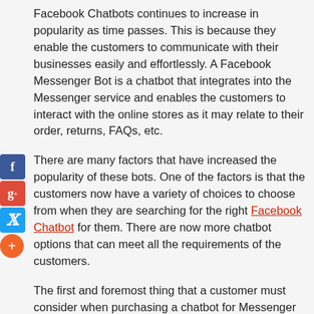Facebook Chatbots continues to increase in popularity as time passes. This is because they enable the customers to communicate with their businesses easily and effortlessly. A Facebook Messenger Bot is a chatbot that integrates into the Messenger service and enables the customers to interact with the online stores as it may relate to their order, returns, FAQs, etc.
There are many factors that have increased the popularity of these bots. One of the factors is that the customers now have a variety of choices to choose from when they are searching for the right Facebook Chatbot for them. There are now more chatbot options that can meet all the requirements of the customers.
The first and foremost thing that a customer must consider when purchasing a chatbot for Messenger service is the price of the chatbot. There are several chatbot options that offer various prices. To help